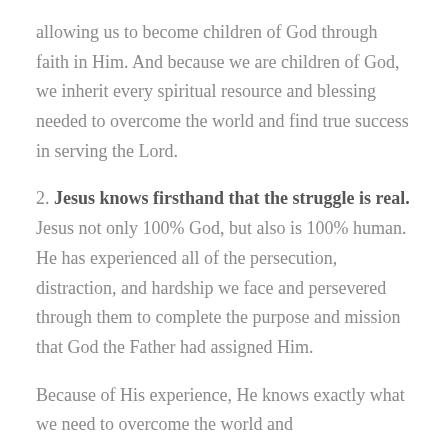allowing us to become children of God through faith in Him. And because we are children of God, we inherit every spiritual resource and blessing needed to overcome the world and find true success in serving the Lord.
2. Jesus knows firsthand that the struggle is real. Jesus not only 100% God, but also is 100% human. He has experienced all of the persecution, distraction, and hardship we face and persevered through them to complete the purpose and mission that God the Father had assigned Him.
Because of His experience, He knows exactly what we need to overcome the world and